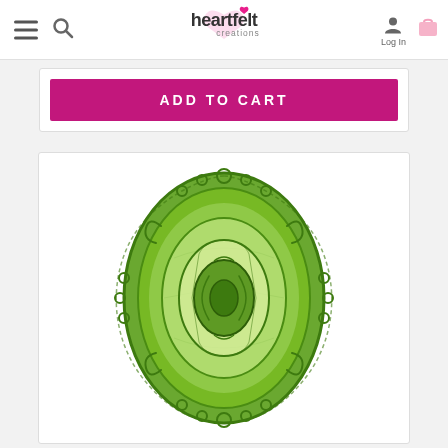[Figure (screenshot): Heartfelt Creations website navigation bar with hamburger menu, search icon, logo, Log In button, and shopping cart icon]
[Figure (other): Pink 'ADD TO CART' button on white card]
[Figure (illustration): Decorative green oval ornamental die-cut design with filigree border and layered oval shapes in various shades of green]